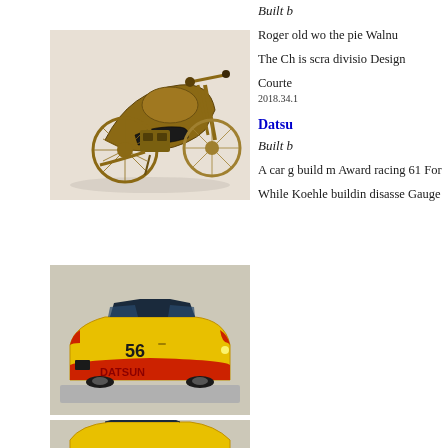[Figure (photo): Wooden scale model of a motorcycle (chopper style) with detailed wooden components including engine, frame, wheels with spokes, and handlebars. Crafted from walnut and other woods.]
Built by
Roger old wo the pie Walnu
The Ch is scra divisio Design
Courte
2018.34.1
Datsu
Built b
A car g build m Award racing 61 For
While Koehle buildin disasse Gauge
[Figure (photo): Scale model of a Datsun racing car, yellow and red, with number 56 on the side and 'DATSUN' lettering, displayed on a base.]
[Figure (photo): Partial view of another yellow scale model car, similar Datsun style, at bottom of page.]